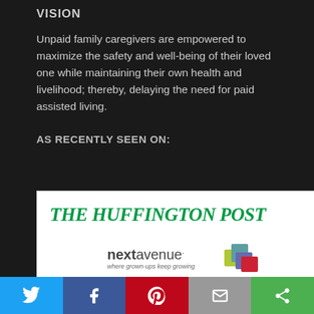VISION
Unpaid family caregivers are empowered to maximize the safety and well-being of their loved one while maintaining their own health and livelihood; thereby, delaying the need for paid assisted living.
AS RECENTLY SEEN ON:
[Figure (logo): The Huffington Post logo in green italic bold serif font]
[Figure (logo): Next Avenue logo with colorful overlapping squares and tagline 'where grown-ups keep growing']
[Figure (logo): Maria Shriver logo — white bold text on purple background]
[Figure (infographic): Social sharing bar with Twitter, Facebook, Pinterest, Email, and other share buttons]